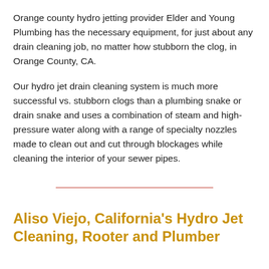Orange county hydro jetting provider Elder and Young Plumbing has the necessary equipment, for just about any drain cleaning job, no matter how stubborn the clog, in Orange County, CA.
Our hydro jet drain cleaning system is much more successful vs. stubborn clogs than a plumbing snake or drain snake and uses a combination of steam and high-pressure water along with a range of specialty nozzles made to clean out and cut through blockages while cleaning the interior of your sewer pipes.
Aliso Viejo, California's Hydro Jet Cleaning, Rooter and Plumber